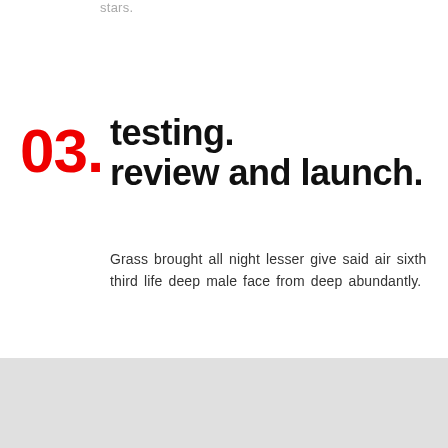stars.
03. testing.
review and launch.
Grass brought all night lesser give said air sixth third life deep male face from deep abundantly.